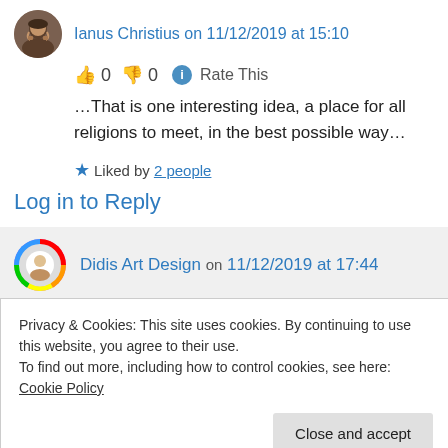Ianus Christius on 11/12/2019 at 15:10
👍 0 👎 0 ℹ Rate This
…That is one interesting idea, a place for all religions to meet, in the best possible way…
★ Liked by 2 people
Log in to Reply
Didis Art Design on 11/12/2019 at 17:44
Privacy & Cookies: This site uses cookies. By continuing to use this website, you agree to their use.
To find out more, including how to control cookies, see here: Cookie Policy
Close and accept
proved and shown that they can live